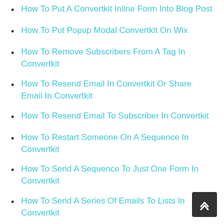How To Put A Convertkit Inline Form Into Blog Post
How To Put Popup Modal Convertkit On Wix
How To Remove Subscribers From A Tag In Convertkit
How To Resend Email In Convertkit Or Share Email In Convertkit
How To Resend Email To Subscriber In Convertkit
How To Restart Someone On A Sequence In Convertkit
How To Send A Sequence To Just One Form In Convertkit
How To Send A Series Of Emails To Lists In Convertkit